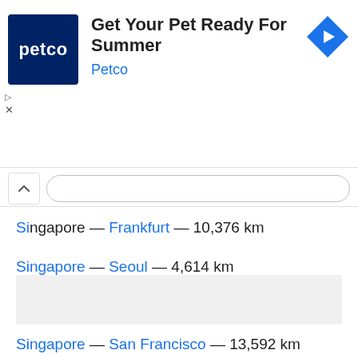[Figure (other): Petco advertisement banner with dark blue Petco logo, headline 'Get Your Pet Ready For Summer', company name 'Petco' in blue, and a blue diamond navigation icon on the right]
Singapore — Frankfurt — 10,376 km
Singapore — Seoul — 4,614 km
Singapore — Paris — 10,748 km
Singapore — San Francisco — 13,592 km
Singapore — Dili — 2,627 km